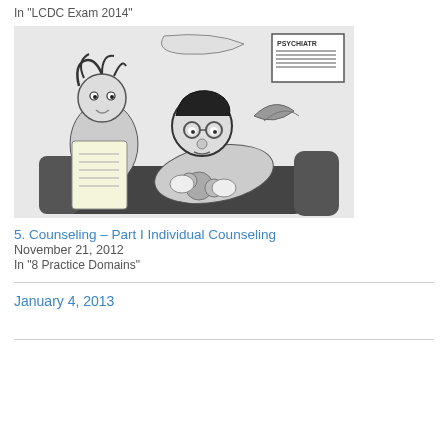In "LCDC Exam 2014"
[Figure (illustration): Black and white cartoon showing a psychiatrist/therapist and a patient in a therapy session. The patient is lying on a couch holding a stuffed animal. A sign reading 'PSYCHIATR...' is visible on the wall in the background.]
5. Counseling – Part I Individual Counseling
November 21, 2012
In "8 Practice Domains"
January 4, 2013